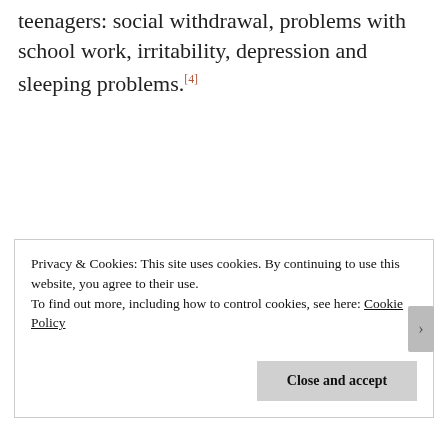teenagers: social withdrawal, problems with school work, irritability, depression and sleeping problems.[4]
Kristin: Do all people with schizophrenia have negative symptoms? Dr. Potkin: No, but at any point in time, negative symptoms can affect approximately
Privacy & Cookies: This site uses cookies. By continuing to use this website, you agree to their use. To find out more, including how to control cookies, see here: Cookie Policy